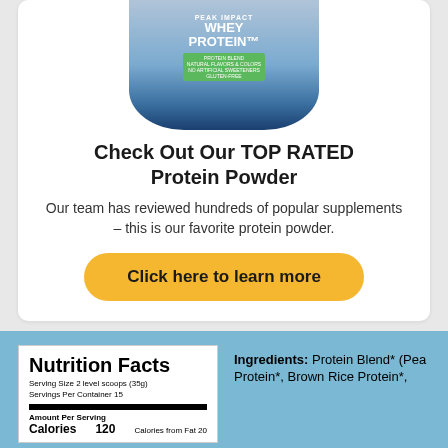[Figure (photo): Whey Protein powder container product image, partially visible from mid-container upward, gray/blue container with blue bottom]
Check Out Our TOP RATED Protein Powder
Our team has reviewed hundreds of popular supplements – this is our favorite protein powder.
Click here to learn more
[Figure (table-as-image): Nutrition Facts panel showing: Serving Size 2 level scoops (35g), Servings Per Container 15, Amount Per Serving, Calories 120, Calories from Fat 20]
Ingredients: Protein Blend* (Pea Protein*, Brown Rice Protein*,